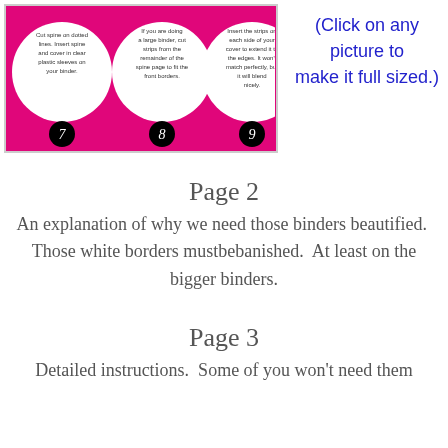[Figure (illustration): A pink binder cover instruction sheet showing steps 7, 8, and 9 with circular numbered icons and instructional text on a hot pink background with white circles.]
(Click on any picture to
make it full sized.)
Page 2
An explanation of why we need those binders beautified.  Those white borders mustbebanished.  At least on the bigger binders.
Page 3
Detailed instructions.  Some of you won't need them